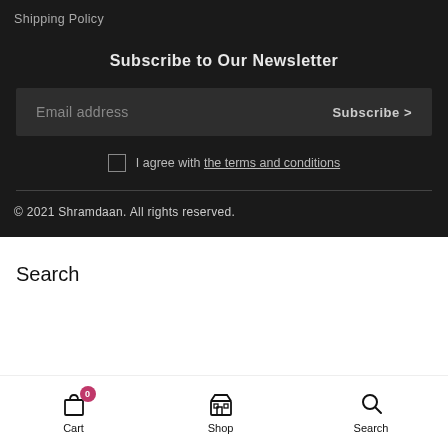Shipping Policy
Subscribe to Our Newsletter
Email address  Subscribe >
I agree with the terms and conditions
© 2021 Shramdaan. All rights reserved.
Search
Cart  Shop  Search